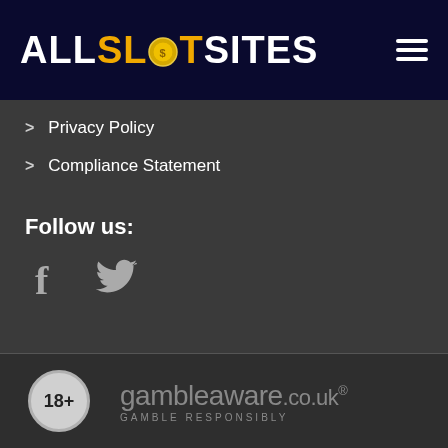ALLSLOTSITES
Privacy Policy
Compliance Statement
Follow us:
[Figure (illustration): Facebook and Twitter social media icons in grey]
18+ gambleaware.co.uk GAMBLE RESPONSIBLY